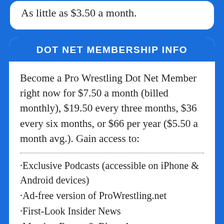As little as $3.50 a month.
DOT NET MEMBERSHIP INFO
Become a Pro Wrestling Dot Net Member right now for $7.50 a month (billed monthly), $19.50 every three months, $36 every six months, or $66 per year ($5.50 a month avg.). Gain access to:
·Exclusive Podcasts (accessible on iPhone & Android devices)
·Ad-free version of ProWrestling.net
·First-Look Insider News
·Member Forum & Blogs Access
·CLICK FOR MORE DETAILS